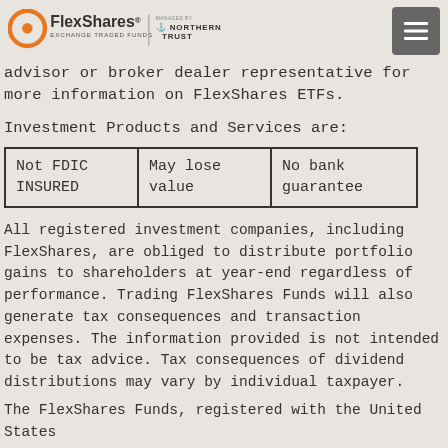FlexShares Exchange Traded Funds — Managed by Northern Trust
advisor or broker dealer representative for more information on FlexShares ETFs.
Investment Products and Services are:
| Not FDIC INSURED | May lose value | No bank guarantee |
All registered investment companies, including FlexShares, are obliged to distribute portfolio gains to shareholders at year-end regardless of performance. Trading FlexShares Funds will also generate tax consequences and transaction expenses. The information provided is not intended to be tax advice. Tax consequences of dividend distributions may vary by individual taxpayer.
The FlexShares Funds, registered with the United States